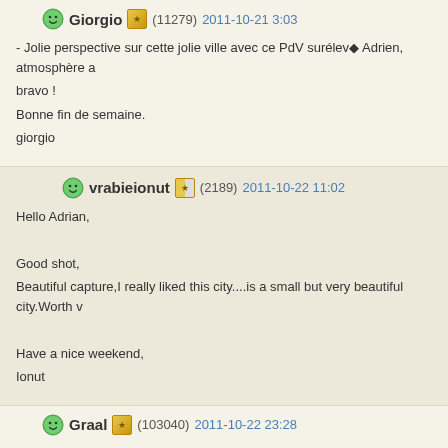Giorgio (11279) 2011-10-21 3:03
- Jolie perspective sur cette jolie ville avec ce PdV surélevé Adrien, atmosphère a bravo !
Bonne fin de semaine.
giorgio
vrabieionut (2189) 2011-10-22 11:02
Hello Adrian,

Good shot,
Beautiful capture,I really liked this city....is a small but very beautiful city.Worth v

Have a nice weekend,
Ionut
Graal (103040) 2011-10-22 23:28
Another very nice view of city, Adrian. Good shot from fine POV. Photo well don
Have a nice day.
Aleksander
asajernigan (31427) 2011-10-24 3:26